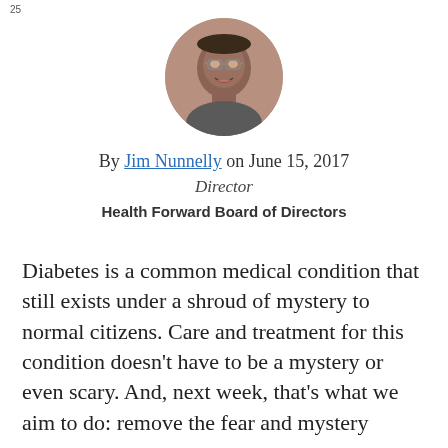25
[Figure (photo): Circular headshot photo of Jim Nunnelly, a man wearing glasses, smiling]
By Jim Nunnelly on June 15, 2017
Director
Health Forward Board of Directors
Diabetes is a common medical condition that still exists under a shroud of mystery to normal citizens. Care and treatment for this condition doesn't have to be a mystery or even scary. And, next week, that's what we aim to do: remove the fear and mystery